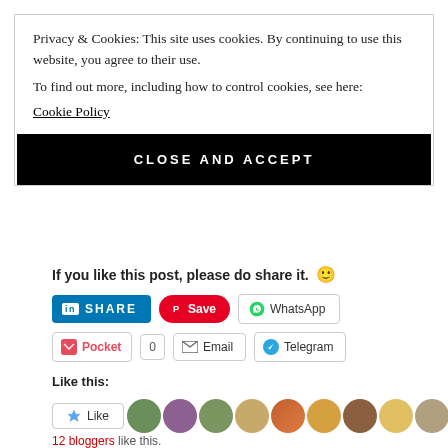Privacy & Cookies: This site uses cookies. By continuing to use this website, you agree to their use. To find out more, including how to control cookies, see here: Cookie Policy
CLOSE AND ACCEPT
If you like this post, please do share it. 🙂
[Figure (other): Social share buttons: LinkedIn SHARE, Pinterest Save, WhatsApp, Pocket with count 0, Email, Telegram]
Like this:
[Figure (other): Like button and avatar strip of blogger profile photos]
12 bloggers like this.